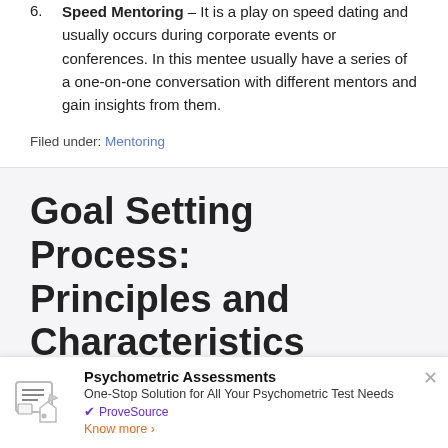Speed Mentoring – It is a play on speed dating and usually occurs during corporate events or conferences. In this mentee usually have a series of a one-on-one conversation with different mentors and gain insights from them.
Filed under: Mentoring
Goal Setting Process: Principles and Characteristics
[Figure (infographic): Advertisement banner for Psychometric Assessments by ProveSource with icon, title, description, and Know more link.]